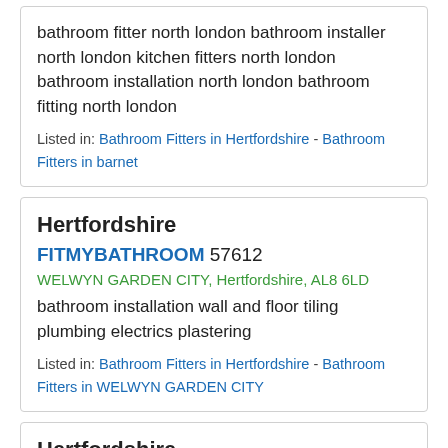bathroom fitter north london bathroom installer north london kitchen fitters north london bathroom installation north london bathroom fitting north london
Listed in: Bathroom Fitters in Hertfordshire - Bathroom Fitters in barnet
Hertfordshire
FITMYBATHROOM 57612
WELWYN GARDEN CITY, Hertfordshire, AL8 6LD
bathroom installation wall and floor tiling plumbing electrics plastering
Listed in: Bathroom Fitters in Hertfordshire - Bathroom Fitters in WELWYN GARDEN CITY
Hertfordshire
FITMYBATHROOM 57012